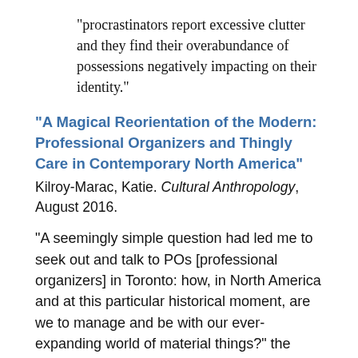“procrastinators report excessive clutter and they find their overabundance of possessions negatively impacting on their identity.”
“A Magical Reorientation of the Modern: Professional Organizers and Thingly Care in Contemporary North America”
Kilroy-Marac, Katie. Cultural Anthropology, August 2016.
“A seemingly simple question had led me to seek out and talk to POs [professional organizers] in Toronto: how, in North America and at this particular historical moment, are we to manage and be with our ever-expanding world of material things?” the author of this study writes. The anthropological research incorporates interviews and fieldwork with 21 personal organizers in Toronto and Ontario. Personal organizers help with “chronic disorganization,” which they describe as “a behavior set or an orientation toward stuff that